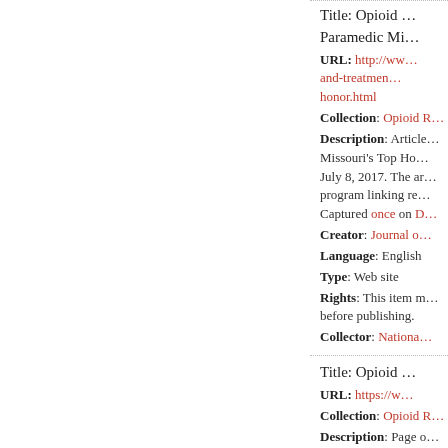Title: Opioid ... Paramedic Mi...
URL: http://ww...and-treatment...honor.html
Collection: Opioid R...
Description: Article...Missouri's Top Ho...July 8, 2017. The ar...program linking re...Captured once on D...
Creator: Journal o...
Language: English
Type: Web site
Rights: This item m...before publishing.
Collector: Nationa...
Title: Opioid ...
URL: https://w...
Collection: Opioid R...
Description: Page o...